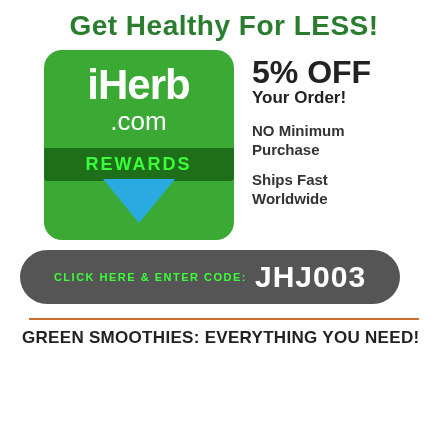Get Healthy for LESS!
[Figure (logo): iHerb.com Rewards logo — green rounded square with white iHerb.com text and dark green REWARDS bar, with a cyan downward arrow, and a gray pill-shaped bar reading 'CLICK HERE & ENTER CODE: JHJ003']
5% OFF Your Order!
NO Minimum Purchase
Ships Fast Worldwide
GREEN SMOOTHIES: EVERYTHING YOU NEED!